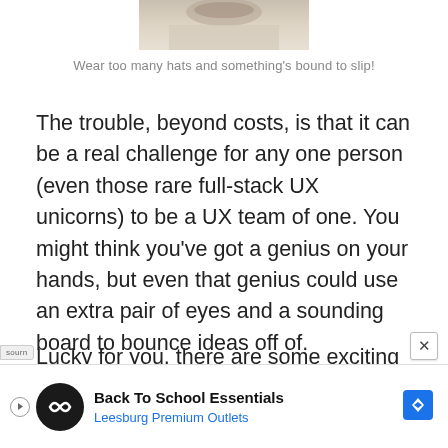[Figure (photo): Partial image of a person wearing hats, cropped at top of page]
Wear too many hats and something's bound to slip!
The trouble, beyond costs, is that it can be a real challenge for any one person (even those rare full-stack UX unicorns) to be a UX team of one. You might think you've got a genius on your hands, but even that genius could use an extra pair of eyes and a sounding board to bounce ideas off of.
Lucky for you, there are some exciting trends in User Experience Optimization that allow you to ge
[Figure (other): Advertisement banner: Back To School Essentials - Leesburg Premium Outlets with logo and navigation icon]